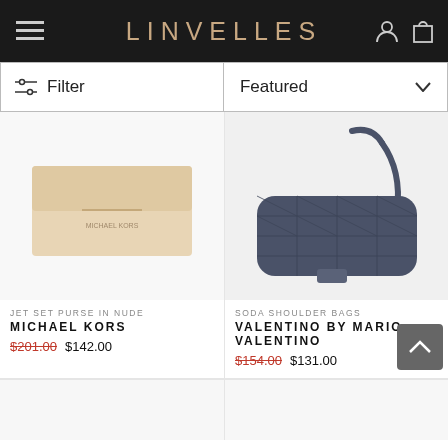LINVELLES
Filter
Featured
[Figure (photo): Beige/nude Michael Kors flat wallet clutch purse on white background]
JET SET PURSE IN NUDE
MICHAEL KORS
$201.00 $142.00
[Figure (photo): Navy blue quilted Valentino by Mario Valentino shoulder bag with crossbody strap on light background]
SODA SHOULDER BAGS
VALENTINO BY MARIO VALENTINO
$154.00 $131.00